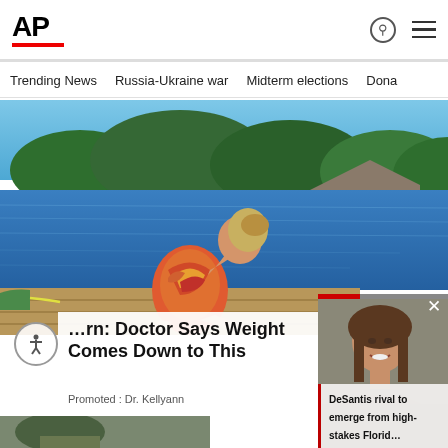AP
Trending News   Russia-Ukraine war   Midterm elections   Dona
[Figure (photo): Woman in floral swimsuit sitting on a dock by a lake, viewed from behind, with forested shoreline in background.]
…rn: Doctor Says Weight Comes Down to This
Promoted : Dr. Kellyann
[Figure (photo): Video popup overlay showing a smiling woman with brown hair, with a red bar at top and a close (×) button.]
DeSantis rival to emerge from high-stakes Florid…